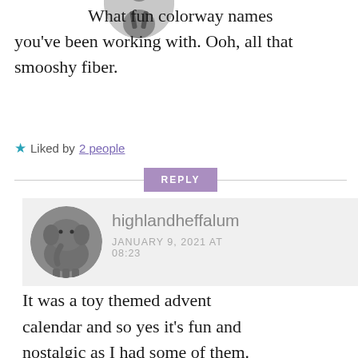[Figure (photo): Circular avatar photo of a person, partially cropped at top of page]
What fun colorway names you’ve been working with. Ooh, all that smooshy fiber.
★ Liked by 2 people
REPLY
[Figure (photo): Circular avatar photo of a baby elephant]
highlandheffalum
JANUARY 9, 2021 AT
08:23
It was a toy themed advent calendar and so yes it’s fun and nostalgic as I had some of them.